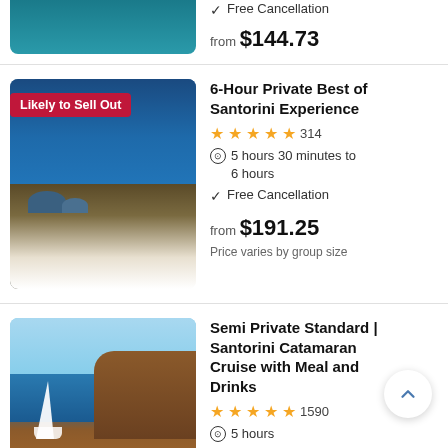[Figure (photo): Partial aerial/ocean photo cut off at top]
Free Cancellation
from $144.73
[Figure (photo): Santorini iconic blue dome churches and caldera view with boats - badge: Likely to Sell Out]
6-Hour Private Best of Santorini Experience
314
5 hours 30 minutes to 6 hours
Free Cancellation
from $191.25
Price varies by group size
[Figure (photo): Santorini catamaran sailboat cruise photo with red cliffs]
Semi Private Standard | Santorini Catamaran Cruise with Meal and Drinks
1590
5 hours
Free Cancellation